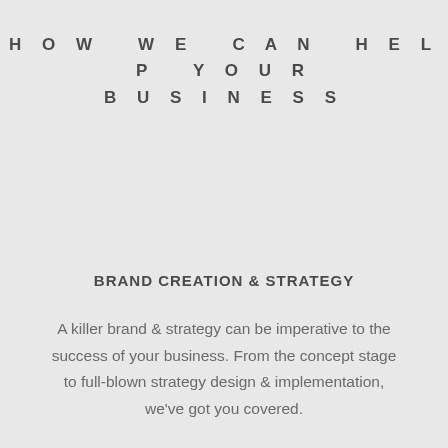HOW WE CAN HELP YOUR BUSINESS
BRAND CREATION & STRATEGY
A killer brand & strategy can be imperative to the success of your business. From the concept stage to full-blown strategy design & implementation, we've got you covered.